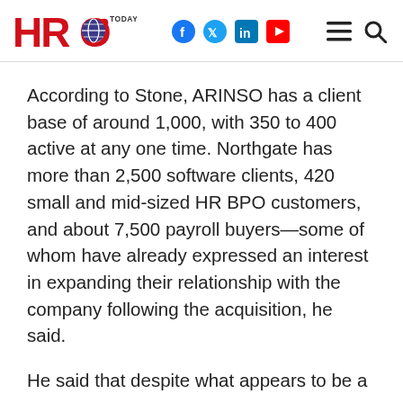HRO Today
According to Stone, ARINSO has a client base of around 1,000, with 350 to 400 active at any one time. Northgate has more than 2,500 software clients, 420 small and mid-sized HR BPO customers, and about 7,500 payroll buyers—some of whom have already expressed an interest in expanding their relationship with the company following the acquisition, he said.
He said that despite what appears to be a